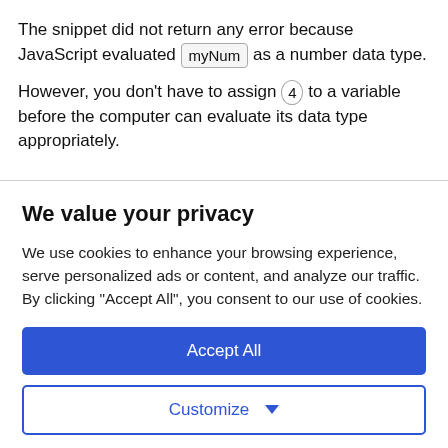The snippet did not return any error because JavaScript evaluated myNum as a number data type.
However, you don't have to assign 4 to a variable before the computer can evaluate its data type appropriately.
We value your privacy
We use cookies to enhance your browsing experience, serve personalized ads or content, and analyze our traffic. By clicking "Accept All", you consent to our use of cookies.
Accept All
Customize